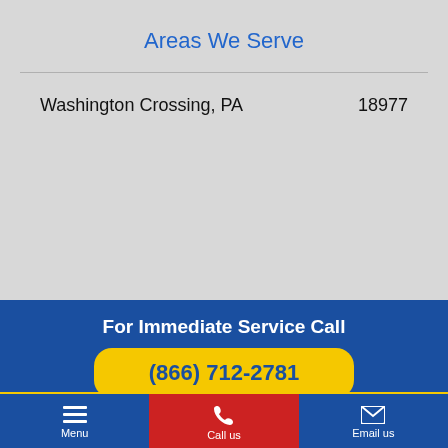Areas We Serve
Washington Crossing, PA    18977
For Immediate Service Call
(866) 712-2781
Menu   Call us   Email us